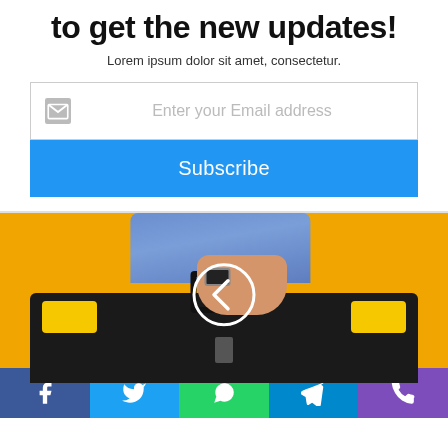to get the new updates!
Lorem ipsum dolor sit amet, consectetur.
Enter your Email address
Subscribe
[Figure (photo): A hand holding a black and yellow toolbox against an orange/yellow background, with a white circle arrow (left chevron) overlay in the center]
Social share bar with Facebook, Twitter, WhatsApp, Telegram, Phone icons